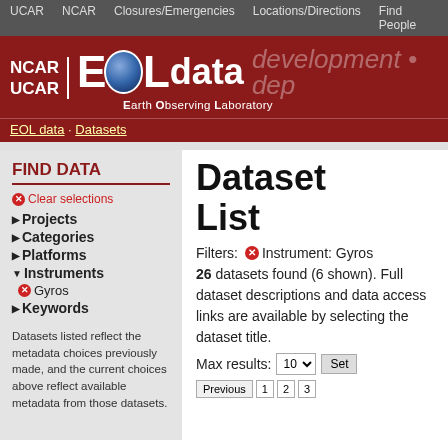UCAR  NCAR  Closures/Emergencies  Locations/Directions  Find People
[Figure (logo): NCAR UCAR EOL data Earth Observing Laboratory logo with globe icon on red background, with 'development • dep' text partially visible]
EOL data · Datasets
FIND DATA
Clear selections
▶Projects
▶Categories
▶Platforms
▼Instruments
✗Gyros
▶Keywords
Datasets listed reflect the metadata choices previously made, and the current choices above reflect available metadata from those datasets.
Dataset List
Filters: ✗Instrument: Gyros
26 datasets found (6 shown). Full dataset descriptions and data access links are available by selecting the dataset title.
Max results: 10 ▼ Set
Previous  1  2  3